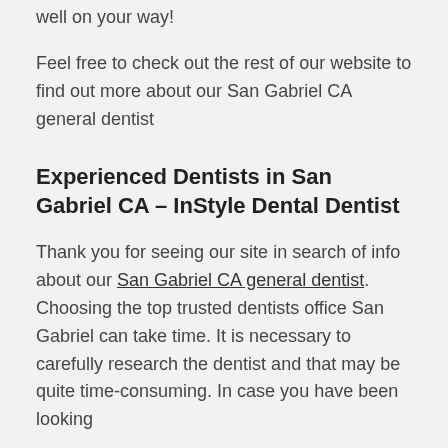well on your way!
Feel free to check out the rest of our website to find out more about our San Gabriel CA general dentist
Experienced Dentists in San Gabriel CA – InStyle Dental Dentist
Thank you for seeing our site in search of info about our San Gabriel CA general dentist. Choosing the top trusted dentists office San Gabriel can take time. It is necessary to carefully research the dentist and that may be quite time-consuming. In case you have been looking